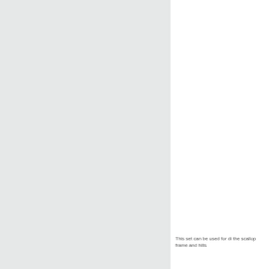[Figure (illustration): Large light gray panel occupying the left portion of the page, appearing to be a clipped or cropped decorative illustration or design element with a light gradient/texture.]
This set can be used for di… the scallop frame and hills…